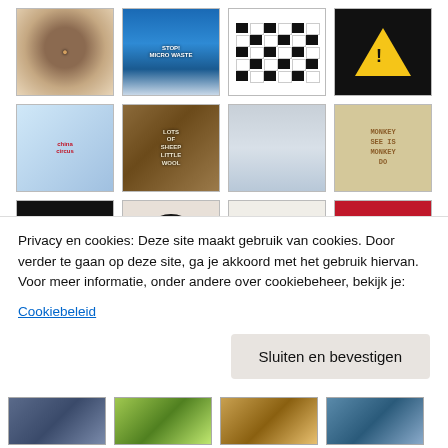[Figure (photo): Grid of thumbnail images showing various typography and design objects. Row 1: circular brown object, blue 'Stop Micro Waste' image, black/white checkerboard pattern, warning triangle sign. Row 2: blue 'china circus' bottles, wooden 'Lots of Sheep Little Wool' text art, grey tablet-like objects, 'Monkey See Monkey Do' scrabble tiles. Row 3: black 'BESON' snowflake pattern fabric, vinyl record on white background, black bird silhouette, red 'SMIK SMAK' card. Row 4: dark gear/mechanical object, 'Laundry Bag' multilingual label, mixed typography collage, circuit board-like object.]
Privacy en cookies: Deze site maakt gebruik van cookies. Door verder te gaan op deze site, ga je akkoord met het gebruik hiervan. Voor meer informatie, onder andere over cookiebeheer, bekijk je:
Cookiebeleid
Sluiten en bevestigen
[Figure (photo): Bottom row of thumbnails: blue patterned fabric, green plant/stamp, brown/amber object, blue-grey image]